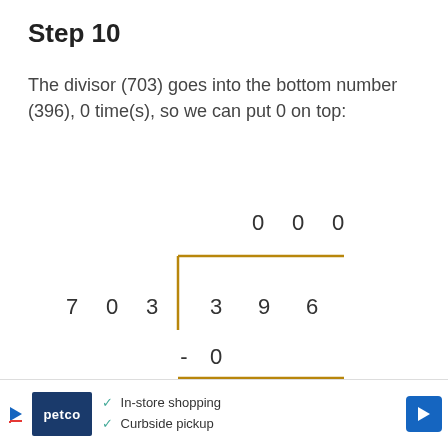Step 10
The divisor (703) goes into the bottom number (396), 0 time(s), so we can put 0 on top:
[Figure (math-figure): Long division diagram showing 703 dividing 396, with quotient digits 0 0 0 on top, subtraction of 0, and remainder 3 9]
In-store shopping  Curbside pickup  (Petco advertisement)